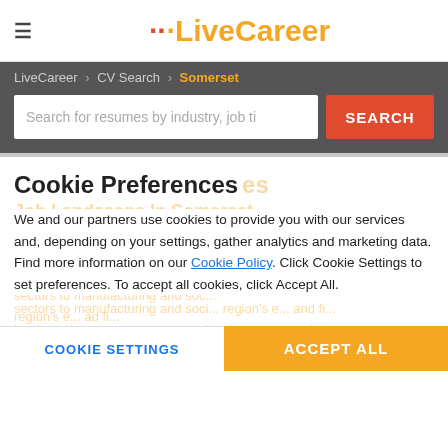LiveCareer logo and hamburger menu
LiveCareer > CV Search > Somerset
Search for resumes by industry, job ti
Cookie Preferences
We and our partners use cookies to provide you with our services and, depending on your settings, gather analytics and marketing data. Find more information on our Cookie Policy. Click Cookie Settings to set preferences. To accept all cookies, click Accept All.
COOKIE SETTINGS   ACCEPT ALL